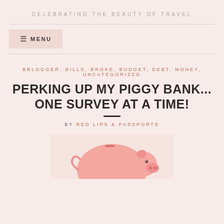CELEBRATING THE BEAUTY OF TRAVEL
≡ MENU
BBLOGGER, BILLS, BROKE, BUDGET, DEBT, MONEY, UNCATEGORIZED
PERKING UP MY PIGGY BANK... ONE SURVEY AT A TIME!
BY RED LIPS & PASSPORTS
[Figure (photo): A pink ceramic piggy bank photographed against a white background, shown from the side with visible ears and snout.]